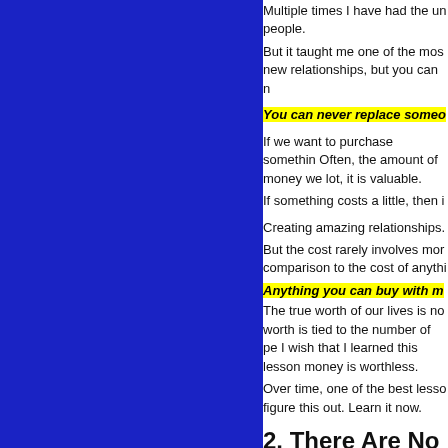[Figure (other): Solid blue rectangle panel on the left side of the page]
Multiple times I have had the un people.
But it taught me one of the mos new relationships, but you can n
You can never replace someo
If we want to purchase somethin Often, the amount of money we lot, it is valuable.
If something costs a little, then i
Creating amazing relationships. But the cost rarely involves mor comparison to the cost of anythi
Anything you can buy with m
The true worth of our lives is no worth is tied to the number of pe I wish that I learned this lesson money is worthless.
Over time, one of the best lesso figure this out. Learn it now.
2. There Are No
"Right now counts forever."
Author and speaker Dan Millma